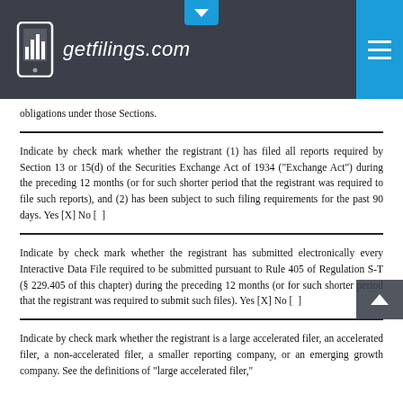getfilings.com
obligations under those Sections.
Indicate by check mark whether the registrant (1) has filed all reports required by Section 13 or 15(d) of the Securities Exchange Act of 1934 (“Exchange Act”) during the preceding 12 months (or for such shorter period that the registrant was required to file such reports), and (2) has been subject to such filing requirements for the past 90 days. Yes [X] No [  ]
Indicate by check mark whether the registrant has submitted electronically every Interactive Data File required to be submitted pursuant to Rule 405 of Regulation S-T (§ 229.405 of this chapter) during the preceding 12 months (or for such shorter period that the registrant was required to submit such files). Yes [X] No [  ]
Indicate by check mark whether the registrant is a large accelerated filer, an accelerated filer, a non-accelerated filer, a smaller reporting company, or an emerging growth company. See the definitions of “large accelerated filer.”